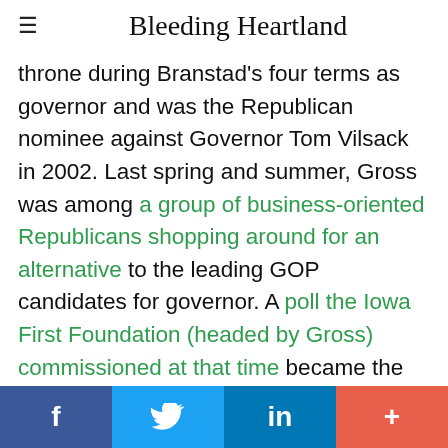Bleeding Heartland
throne during Branstad's four terms as governor and was the Republican nominee against Governor Tom Vilsack in 2002. Last spring and summer, Gross was among a group of business-oriented Republicans shopping around for an alternative to the leading GOP candidates for governor. A poll the Iowa First Foundation (headed by Gross) commissioned at that time became the opening salvo in the project to draft Branstad back into politics. Gross cited the